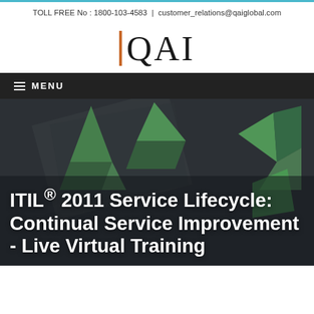TOLL FREE No : 1800-103-4583 | customer_relations@qaiglobal.com
[Figure (logo): QAI logo with orange vertical bar followed by QAI text in serif font]
MENU
[Figure (photo): Dark abstract background with green geometric shapes and triangles]
ITIL® 2011 Service Lifecycle: Continual Service Improvement - Live Virtual Training